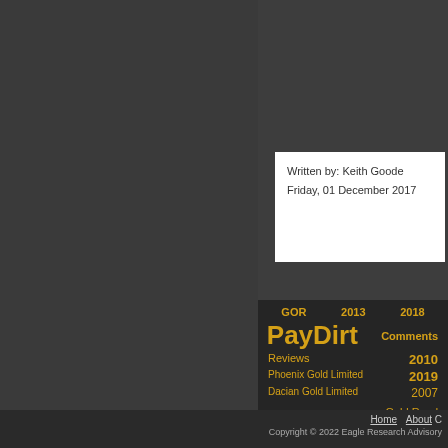Written by: Keith Goode
Friday, 01 December 2017
GOR   2013   2018
PayDirt   Comments
Reviews   2010
Phoenix Gold Limited   2019
Dacian Gold Limited   2007
Gold Road
Home   About   C
Copyright © 2022 Eagle Research Advisory